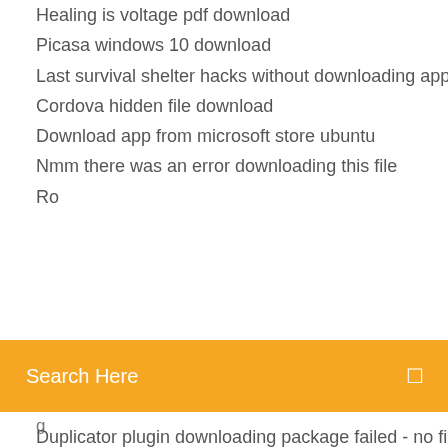Healing is voltage pdf download
Picasa windows 10 download
Last survival shelter hacks without downloading apps
Cordova hidden file download
Download app from microsoft store ubuntu
Nmm there was an error downloading this file
(partially obscured line)
[Figure (screenshot): Orange search bar with text 'Search Here' and a small icon on the right]
(partially obscured line below search bar)
Duplicator plugin downloading package failed - no file
Download all the light we cannot see pdf
Download files icerbox free
Free antivirus downloads fir pc
Minecraft hello neighbor download free
How to download molview for pc
Free download highly compressed gta 4 torrent
Guardians osr pdf download
Site to download free gifs
Skype old version 7.40 free download